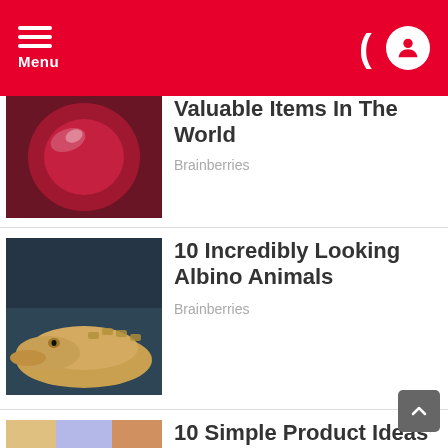Menu
Valuable Items In The World
Brainberries
10 Incredibly Looking Albino Animals
Brainberries
10 Simple Product Ideas That Made Their Creators Millionaires
Brainberries
SPONSORED CONTENT
[Figure (logo): mgid logo with play button icon]
[Figure (photo): Two sponsored content thumbnail images showing women's faces]